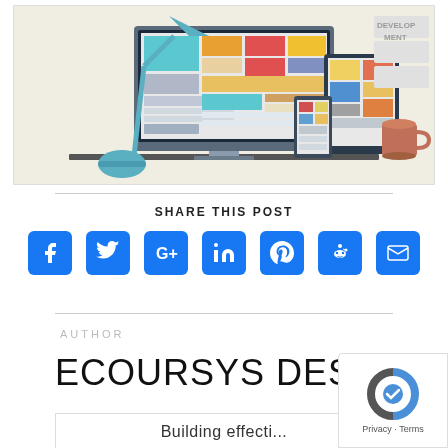[Figure (illustration): Flat design illustration of a web development workspace with a monitor, tablet, and phone showing colorful responsive UI layouts, a desk lamp, and a coffee mug. Text 'DEVELOPMENT' visible in background.]
SHARE THIS POST
[Figure (infographic): Row of 7 social sharing icon buttons: Facebook, Twitter, Google+, LinkedIn, Pinterest, Reddit, Email — all in blue rounded squares.]
AUTHOR
ECOURSYS DESK
[Figure (screenshot): Bottom of page showing partial text 'Building effective...' inside a card/box, with reCAPTCHA Privacy·Terms badge in bottom-right corner.]